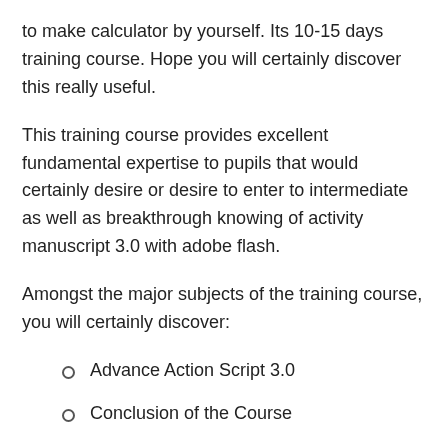to make calculator by yourself. Its 10-15 days training course. Hope you will certainly discover this really useful.
This training course provides excellent fundamental expertise to pupils that would certainly desire or desire to enter to intermediate as well as breakthrough knowing of activity manuscript 3.0 with adobe flash.
Amongst the major subjects of the training course, you will certainly discover:
Advance Action Script 3.0
Conclusion of the Course
Basic Action Script 3.0